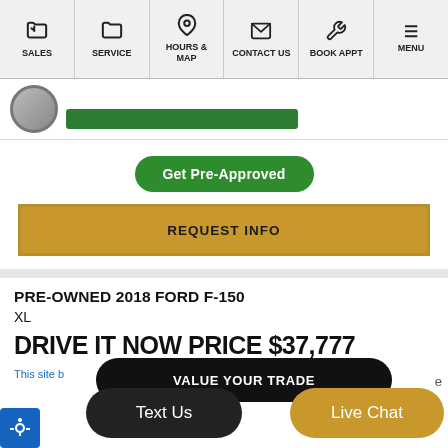SALES | SERVICE | HOURS & MAP | CONTACT US | BOOK APPT | MENU
[Figure (screenshot): Partial vehicle image with green bar]
Get Pre-Approved
REQUEST INFO
PRE-OWNED 2018 FORD F-150
XL
DRIVE IT NOW PRICE $37,777
VALUE YOUR TRADE
This site b
Text Us
Live Chat